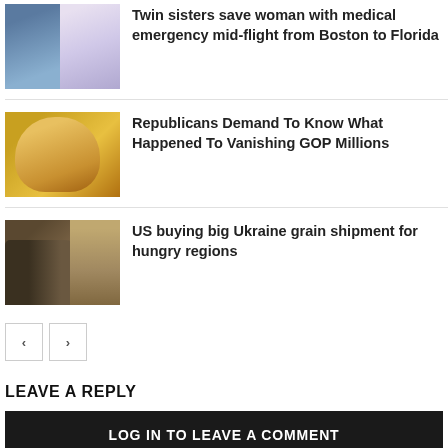[Figure (photo): Two people - a bald man and a woman in white medical uniform]
Twin sisters save woman with medical emergency mid-flight from Boston to Florida
[Figure (photo): Close-up of a bald man with golden/warm lighting]
Republicans Demand To Know What Happened To Vanishing GOP Millions
[Figure (photo): Grain storage facility with large mound of grain]
US buying big Ukraine grain shipment for hungry regions
LEAVE A REPLY
LOG IN TO LEAVE A COMMENT